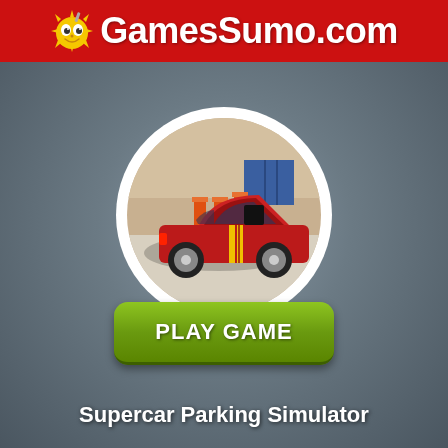GamesSumo.com
[Figure (screenshot): Circular game thumbnail showing a red sports car (Ford Mustang) in a parking simulator game environment with orange barriers and blue shipping containers in the background.]
PLAY GAME
Supercar Parking Simulator